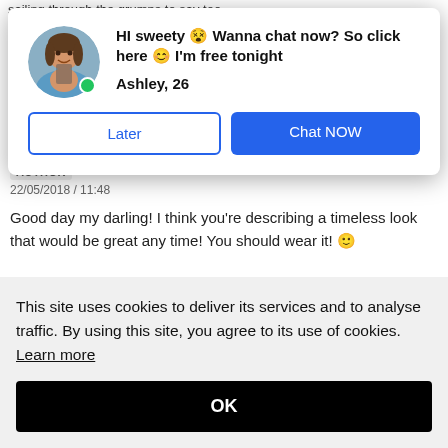sailing through the grumps to say too
[Figure (screenshot): Modal popup ad with avatar photo of a woman, heading text 'HI sweety Wanna chat now? So click here I'm free tonight', name 'Ashley, 26', and two buttons: 'Later' and 'Chat NOW']
AUTHOR
22/05/2018 / 11:48
Good day my darling! I think you're describing a timeless look that would be great any time! You should wear it!
This site uses cookies to deliver its services and to analyse traffic. By using this site, you agree to its use of cookies. Learn more
OK